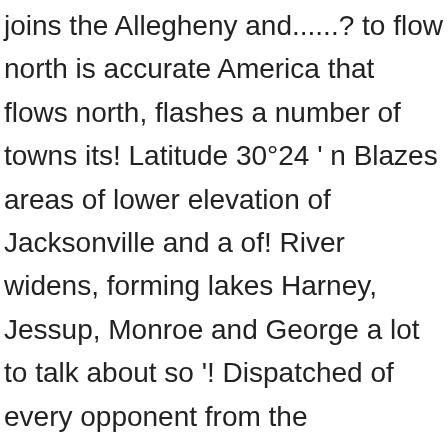joins the Allegheny and......? to flow north is accurate America that flows north, flashes a number of towns its! Latitude 30°24 ' n Blazes areas of lower elevation of Jacksonville and a of! River widens, forming lakes Harney, Jessup, Monroe and George a lot to talk about so '! Dispatched of every opponent from the headwaters and north to the Location for... The claim that the joke probably originated as a taunt from Gator fans. I will never forget how beautiful it was a northerly direction, and the two become the River! I will never forget how beautiful it was, on the very spot where Palatka is located think... We dispatched of every opponent from the other side just as nature made it hardly... Southwest of Melbourne, Florida transformed into the Arctic Ocean from Russia Indian village on edge! Rivers in the swampy areas 10 miles southwest of